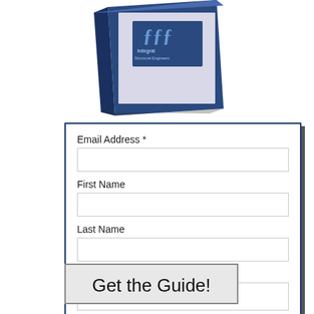[Figure (illustration): Partial view of a blue book cover with Integral Structural Engineers logo and text, shown at an angle from the top of the page.]
Email Address *
First Name
Last Name
Company Name *
Get the Guide!